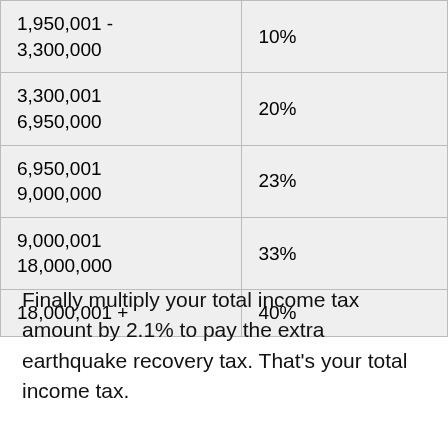| Income Range | Tax Rate |
| --- | --- |
| 1,950,001 - 3,300,000 | 10% |
| 3,300,001
6,950,000 | 20% |
| 6,950,001
9,000,000 | 23% |
| 9,000,001
18,000,000 | 33% |
| 18,000,001 + | 40% |
Finally multiply your total income tax amount by 2.1% to pay the extra earthquake recovery tax. That's your total income tax.